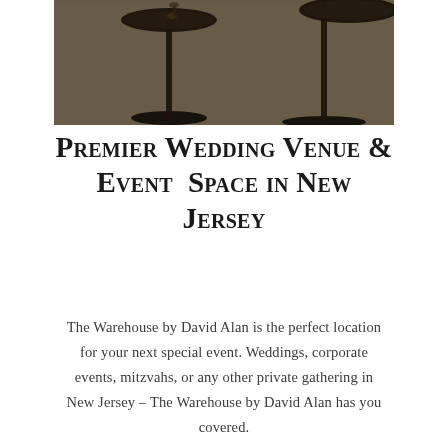[Figure (photo): Overhead view of bar stools or pedestal tables on a light wood floor, dark moody interior lighting]
Premier Wedding Venue & Event Space in New Jersey
The Warehouse by David Alan is the perfect location for your next special event. Weddings, corporate events, mitzvahs, or any other private gathering in New Jersey – The Warehouse by David Alan has you covered.